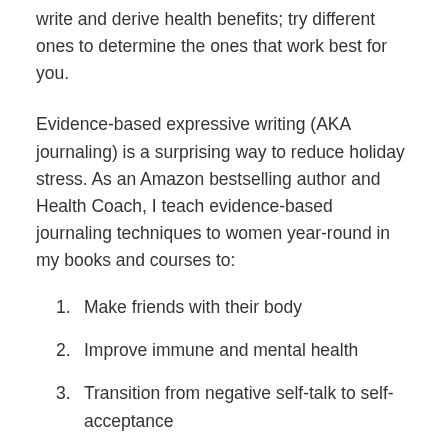write and derive health benefits; try different ones to determine the ones that work best for you.
Evidence-based expressive writing (AKA journaling) is a surprising way to reduce holiday stress. As an Amazon bestselling author and Health Coach, I teach evidence-based journaling techniques to women year-round in my books and courses to:
1. Make friends with their body
2. Improve immune and mental health
3. Transition from negative self-talk to self-acceptance